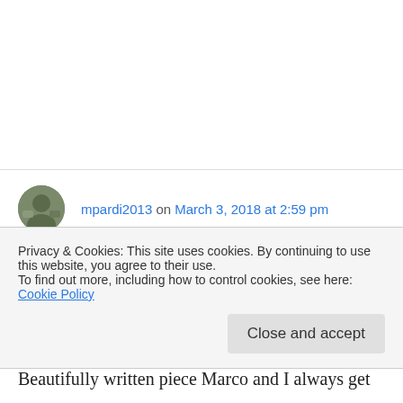mpardi2013 on March 3, 2018 at 2:59 pm
Thank you, Rose. What we experience in those moments is both the gift and the frustration of mysticism: a passing visit to a place we want to stay, but can't. Yet we search for more. Marco
Privacy & Cookies: This site uses cookies. By continuing to use this website, you agree to their use.
To find out more, including how to control cookies, see here: Cookie Policy
Close and accept
Beautifully written piece Marco and I always get